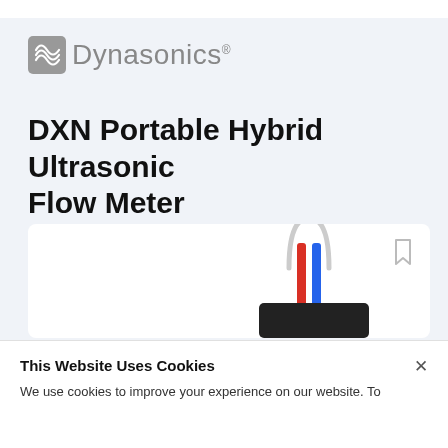[Figure (logo): Dynasonics logo with wave icon and gray text]
DXN Portable Hybrid Ultrasonic Flow Meter
[Figure (photo): DXN Portable Hybrid Ultrasonic Flow Meter device with red and blue cable connectors visible against white background]
This Website Uses Cookies
We use cookies to improve your experience on our website. To